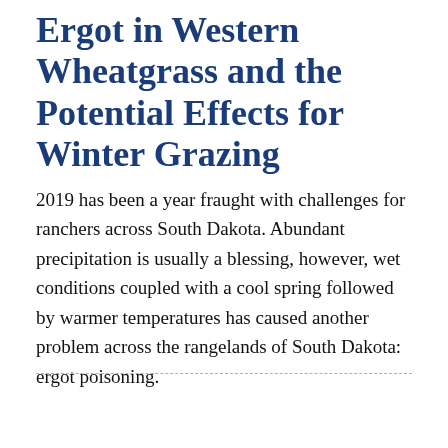Ergot in Western Wheatgrass and the Potential Effects for Winter Grazing
2019 has been a year fraught with challenges for ranchers across South Dakota. Abundant precipitation is usually a blessing, however, wet conditions coupled with a cool spring followed by warmer temperatures has caused another problem across the rangelands of South Dakota: ergot poisoning.